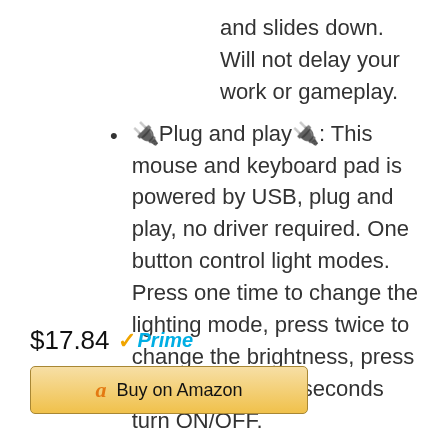and slides down. Will not delay your work or gameplay.
🔌Plug and play🔌: This mouse and keyboard pad is powered by USB, plug and play, no driver required. One button control light modes. Press one time to change the lighting mode, press twice to change the brightness, press and hold about 3 seconds turn ON/OFF.
$17.84 ✓Prime
Buy on Amazon